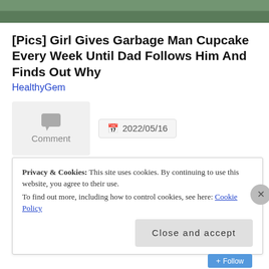[Figure (photo): Top strip of a photo showing a person outdoors with greenery background]
[Pics] Girl Gives Garbage Man Cupcake Every Week Until Dad Follows Him And Finds Out Why
HealthyGem
Comment
2022/05/16
art
banana slug
British Columbia
mini painting
oil painting
painting
West coast
West Coast creatures
Privacy & Cookies: This site uses cookies. By continuing to use this website, you agree to their use. To find out more, including how to control cookies, see here: Cookie Policy
Close and accept